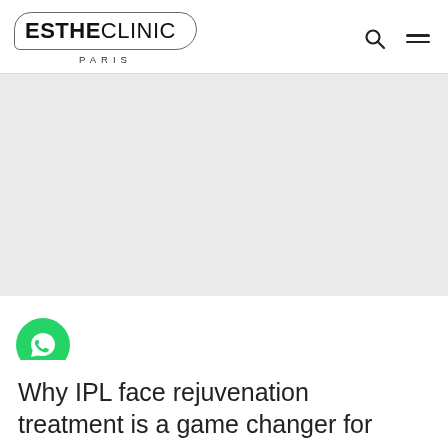[Figure (logo): EstheClinic Paris logo with rounded outline border and 'PARIS' text below]
[Figure (illustration): Gray placeholder content area for a blog post image]
[Figure (illustration): Green circular WhatsApp chat button with speech bubble icon]
Why IPL face rejuvenation treatment is a game changer for